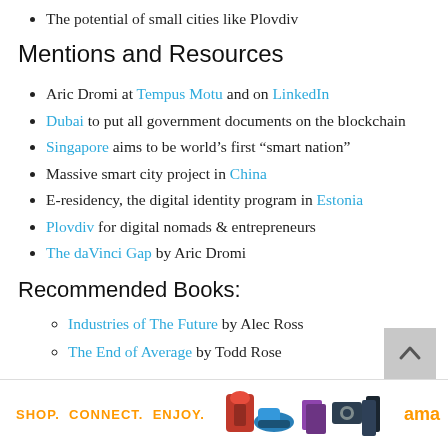The potential of small cities like Plovdiv
Mentions and Resources
Aric Dromi at Tempus Motu and on LinkedIn
Dubai to put all government documents on the blockchain
Singapore aims to be world's first “smart nation”
Massive smart city project in China
E-residency, the digital identity program in Estonia
Plovdiv for digital nomads & entrepreneurs
The daVinci Gap by Aric Dromi
Recommended Books:
Industries of The Future by Alec Ross
The End of Average by Todd Rose
[Figure (other): Amazon advertisement banner with orange text 'SHOP. CONNECT. ENJOY.' and product images and amazon logo]